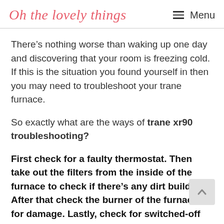Oh the lovely things  Menu
There’s nothing worse than waking up one day and discovering that your room is freezing cold. If this is the situation you found yourself in then you may need to troubleshoot your trane furnace.
So exactly what are the ways of trane xr90 troubleshooting?
First check for a faulty thermostat. Then take out the filters from the inside of the furnace to check if there’s any dirt buildup. After that check the burner of the furnace for damage. Lastly, check for switched-off gas valves